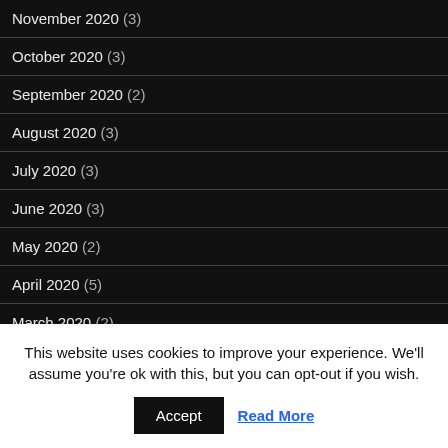November 2020 (3)
October 2020 (3)
September 2020 (2)
August 2020 (3)
July 2020 (3)
June 2020 (3)
May 2020 (2)
April 2020 (5)
March 2020 (2)
This website uses cookies to improve your experience. We'll assume you're ok with this, but you can opt-out if you wish.
Accept | Read More